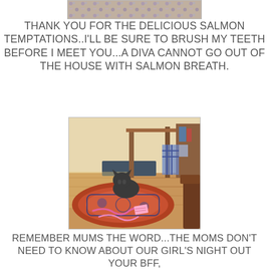[Figure (photo): Top partial photo of a decorative rug/textile with blue and cream pattern]
THANK YOU FOR THE DELICIOUS SALMON TEMPTATIONS..I'LL BE SURE TO BRUSH MY TEETH BEFORE I MEET YOU...A DIVA CANNOT GO OUT OF THE HOUSE WITH SALMON BREATH.
[Figure (photo): Photo of a dark gray cat sitting on a colorful patterned rug, playing with pink ribbons. Wooden furniture and shelves visible in background.]
REMEMBER MUMS THE WORD...THE MOMS DON'T NEED TO KNOW ABOUT OUR GIRL'S NIGHT OUT
YOUR BFF,
MADISON (DIVA) UPCHURCH